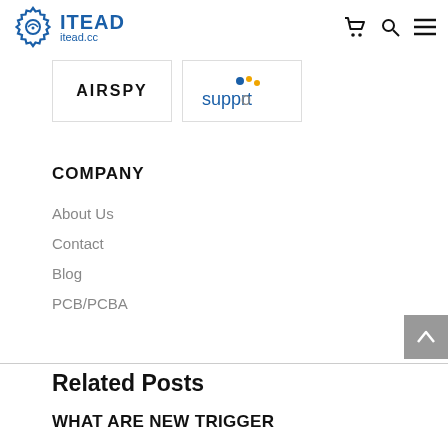ITEAD itead.cc
[Figure (logo): Airspy partner logo in a bordered box]
[Figure (logo): Support partner logo with blue and orange dots in a bordered box]
COMPANY
About Us
Contact
Blog
PCB/PCBA
Related Posts
WHAT ARE NEW TRIGGER MODES FOR MINNS ENTER